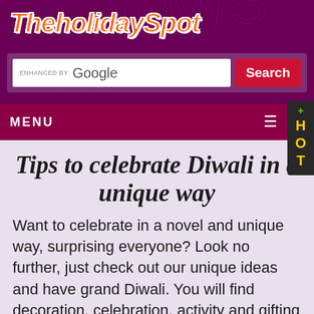TheholidaySpot
[Figure (screenshot): Search bar with 'ENHANCED BY Google' text and red Search button]
MENU
[Figure (other): HOT vertical sidebar label in yellow on dark background with green plus]
Tips to celebrate Diwali in a unique way
Want to celebrate in a novel and unique way, surprising everyone? Look no further, just check out our unique ideas and have grand Diwali. You will find decoration, celebration, activity and gifting ideas.